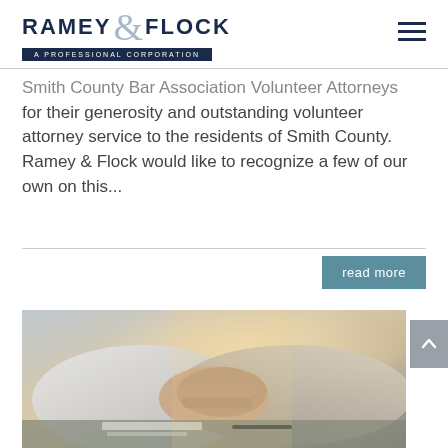RAMEY & FLOCK A PROFESSIONAL CORPORATION
Smith County Bar Association Volunteer Attorneys for their generosity and outstanding volunteer attorney service to the residents of Smith County. Ramey & Flock would like to recognize a few of our own on this...
read more
[Figure (photo): Two people shaking hands in a professional/legal setting, with warm backlighting and documents visible on a desk.]